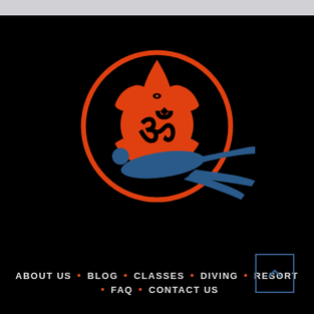[Figure (logo): Yoga/wellness studio logo featuring an orange sacral chakra symbol with a blue yoga silhouette of a person in locust pose overlaid on the center]
ABOUT US • BLOG • CLASSES • DIVING • RESORT • FAQ • CONTACT US
[Figure (other): Scroll-to-top button icon: a small square box outline with an upward-pointing chevron arrow, in blue/teal color]